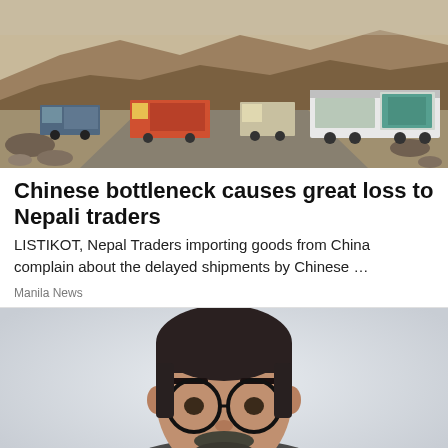[Figure (photo): Trucks and vehicles on a rocky mountain road in Nepal/China border area with rocky terrain and hills in the background.]
Chinese bottleneck causes great loss to Nepali traders
LISTIKOT, Nepal Traders importing goods from China complain about the delayed shipments by Chinese …
Manila News
[Figure (photo): Portrait photo of a middle-aged man with short dark hair, round glasses, and a beard, against a light grey background.]